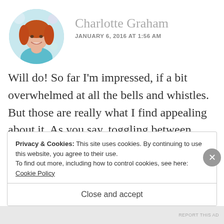[Figure (photo): Circular avatar photo of a woman with red hair wearing a teal top, smiling]
Charlotte Graham
JANUARY 6, 2016 AT 1:56 AM
Will do! So far I'm impressed, if a bit overwhelmed at all the bells and whistles. But those are really what I find appealing about it. As you say, toggling between Word documents can get cumbersome.
Privacy & Cookies: This site uses cookies. By continuing to use this website, you agree to their use.
To find out more, including how to control cookies, see here: Cookie Policy
Close and accept